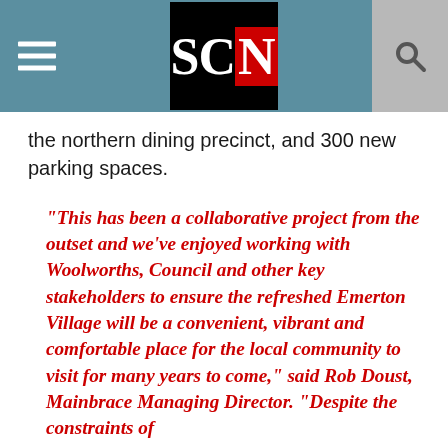SCN
the northern dining precinct, and 300 new parking spaces.
“This has been a collaborative project from the outset and we’ve enjoyed working with Woolworths, Council and other key stakeholders to ensure the refreshed Emerton Village will be a convenient, vibrant and comfortable place for the local community to visit for many years to come,” said Rob Doust, Mainbrace Managing Director. “Despite the constraints of